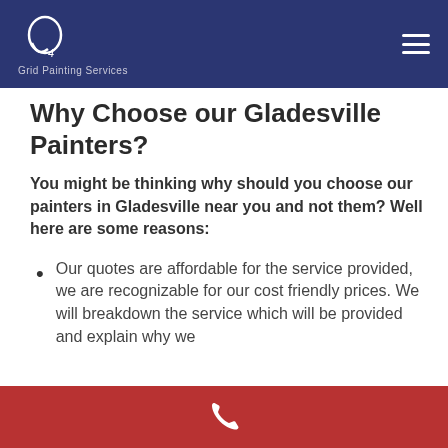Grid Painting Services
Why Choose our Gladesville Painters?
You might be thinking why should you choose our painters in Gladesville near you and not them? Well here are some reasons:
Our quotes are affordable for the service provided, we are recognizable for our cost friendly prices. We will breakdown the service which will be provided and explain why we...
Phone contact